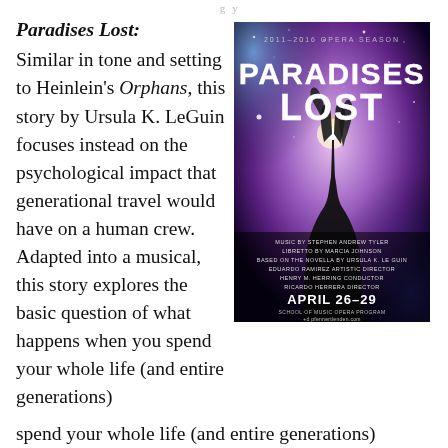... g y ...
Paradises Lost: Similar in tone and setting to Heinlein's Orphans, this story by Ursula K. LeGuin focuses instead on the psychological impact that generational travel would have on a human crew. Adapted into a musical, this story explores the basic question of what happens when you spend your whole life (and entire generations)
[Figure (photo): Opera poster for 'Paradises Lost' showing a hand reaching toward a bright light against a purple galaxy background. Text reads: 2011-2016 OPERA SEASON, PARADISES LOST, MUSIC BY STEPHEN ANDREW TYLER, LIBRETTO BY MARCIA JOHNSON, BASED ON THE NOVELLA BY URSULA K. LE GUIN, EDUARDO RAMIREZ ARTISTIC DIRECTOR, HENRY M. HERRING CONDUCTOR, RICARDO HERRERA DIRECTOR, APRIL 26-29, SCHOOL OF MUSIC OPERA PROGRAM]